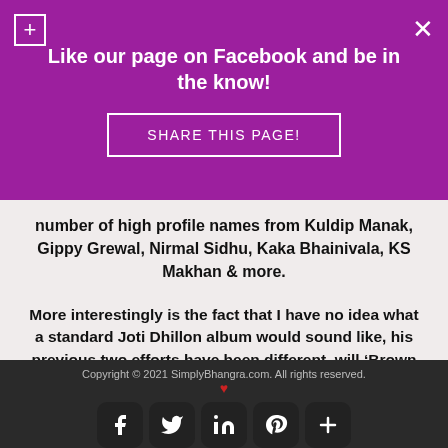Like our page on Facebook and be in the know!
SHARE THIS PAGE!
number of high profile names from Kuldip Manak, Gippy Grewal, Nirmal Sidhu, Kaka Bhainivala, KS Makhan & more.
More interestingly is the fact that I have no idea what a standard Joti Dhillon album would sound like, his previous two efforts have been different, will ‘Brown Sugar’ contain some sort of consistency?
The album kicks off with “Thar Thar Veri Kamde” sung by
Copyright © 2021 SimplyBhangra.com. All rights reserved.